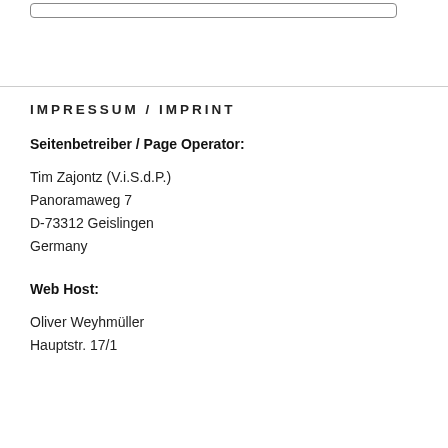IMPRESSUM / IMPRINT
Seitenbetreiber / Page Operator:
Tim Zajontz (V.i.S.d.P.)
Panoramaweg 7
D-73312 Geislingen
Germany
Web Host:
Oliver Weyhmüller
Hauptstr. 17/1